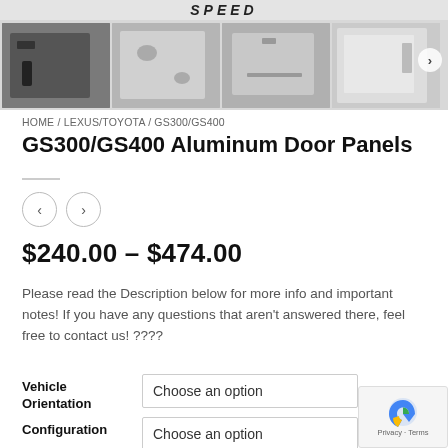[Figure (screenshot): Website screenshot showing product listing for GS300/GS400 Aluminum Door Panels with gallery images, breadcrumb navigation, price, and form options]
SPEED
HOME / LEXUS/TOYOTA / GS300/GS400
GS300/GS400 Aluminum Door Panels
$240.00 – $474.00
Please read the Description below for more info and important notes! If you have any questions that aren't answered there, feel free to contact us! ????